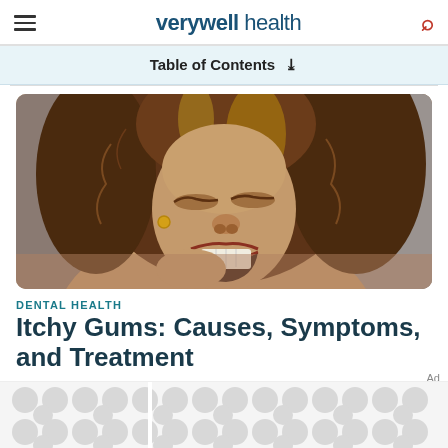verywell health
Table of Contents
[Figure (photo): A woman with curly hair grimacing in pain, holding her jaw/cheek, mouth open, eyes closed, suggesting dental pain or itchy gums.]
DENTAL HEALTH
Itchy Gums: Causes, Symptoms, and Treatment